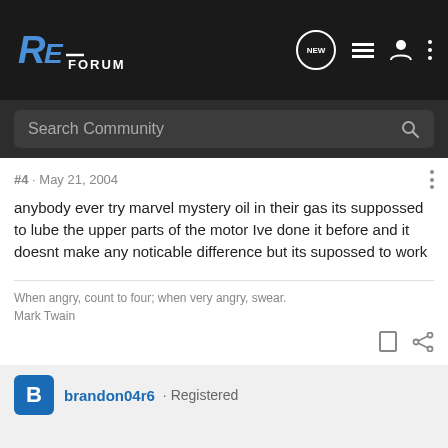RE Forum
#4 · May 21, 2004
anybody ever try marvel mystery oil in their gas its suppossed to lube the upper parts of the motor Ive done it before and it doesnt make any noticable difference but its supossed to work
When angry, count to four; when very angry, swear.
Mark Twain
brandon04r6 · Registered